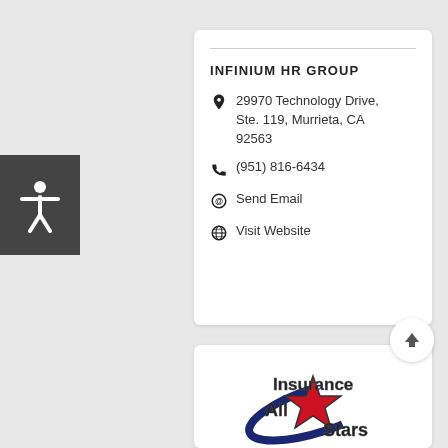[Figure (other): Accessibility icon button showing a human figure with arms outstretched, white icon on dark grey background]
INFINIUM HR GROUP
29970 Technology Drive, Ste. 119, Murrieta, CA 92563
(951) 816-6434
Send Email
Visit Website
[Figure (logo): Insurance All Stars logo with bold stylized text 'Insurance All Stars' and a red star with blue swoosh graphic element]